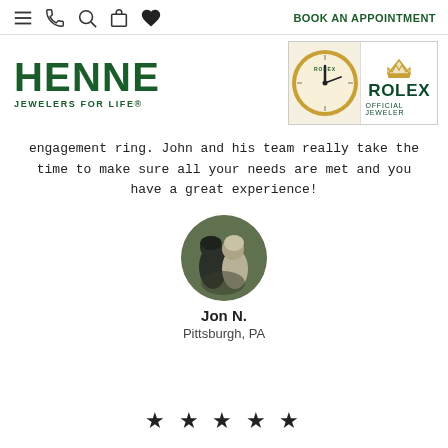BOOK AN APPOINTMENT
[Figure (logo): HENNE JEWELERS FOR LIFE logo in dark green]
[Figure (logo): Rolex Official Jeweler badge with clock and crown]
engagement ring. John and his team really take the time to make sure all your needs are met and you have a great experience!
[Figure (photo): Circular avatar photo of couple (Jon N.) from Pittsburgh, PA]
Jon N.
Pittsburgh, PA
★ ★ ★ ★ ★